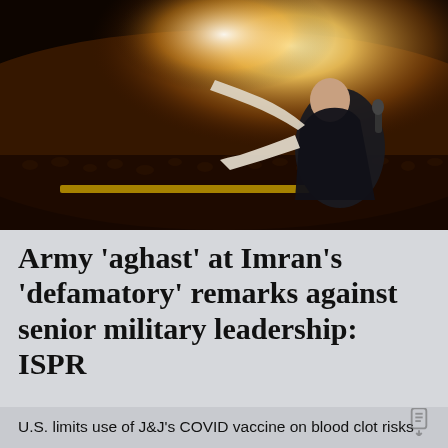[Figure (photo): A person in a dark vest stands at a podium with arm outstretched toward a massive nighttime crowd illuminated by bright lights, viewed from behind/side.]
Army 'aghast' at Imran's 'defamatory' remarks against senior military leadership: ISPR
U.S. limits use of J&J's COVID vaccine on blood clot risks